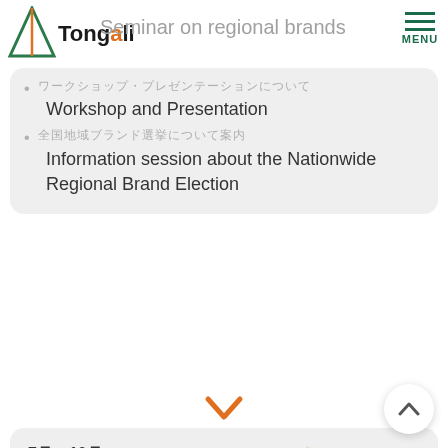Seminar on regional brands
Workshop and Presentation
Information session about the Nationwide Regional Brand Election
July to October   Interviews and Creating Ideas
Venue: Nishio City *
Requirement 1: Introduce the regional product/service on SNS